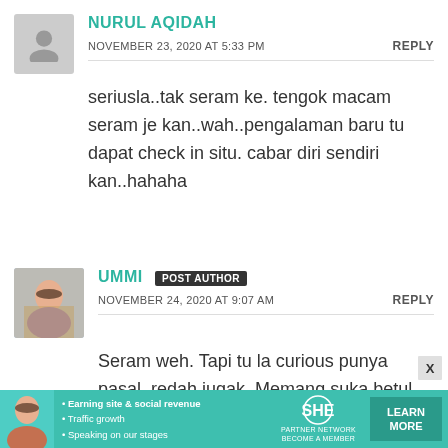NURUL AQIDAH
NOVEMBER 23, 2020 AT 5:33 PM
REPLY
seriusla..tak seram ke. tengok macam seram je kan..wah..pengalaman baru tu dapat check in situ. cabar diri sendiri kan..hahaha
UMMI POST AUTHOR
NOVEMBER 24, 2020 AT 9:07 AM
REPLY
Seram weh. Tapi tu la curious punya pasal, redah jugak. Memang suka betul cabar diri sendiri
[Figure (infographic): SHE Partner Network advertisement banner with bullets: Earning site & social revenue, Traffic growth, Speaking on our stages, and Learn More button]